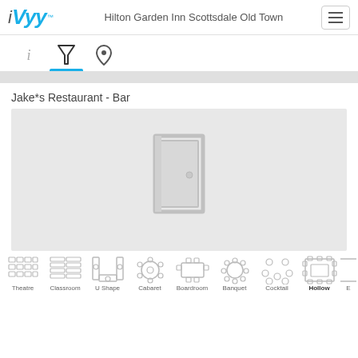iVvy — Hilton Garden Inn Scottsdale Old Town
[Figure (screenshot): Navigation tab bar with info (i), filter (martini glass icon, active with blue underline), and location pin icons]
Jake*s Restaurant - Bar
[Figure (illustration): Gray placeholder image for room/venue with a door icon in the center]
[Figure (infographic): Bottom icon strip showing seating arrangement types: Theatre, Classroom, U Shape, Cabaret, Boardroom, Banquet, Cocktail, Hollow, and partially visible Exh]